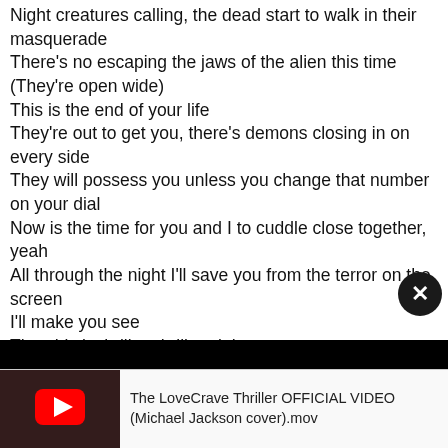Night creatures calling, the dead start to walk in their masquerade
There's no escaping the jaws of the alien this time
(They're open wide)
This is the end of your life
They're out to get you, there's demons closing in on every side
They will possess you unless you change that number on your dial
Now is the time for you and I to cuddle close together, yeah
All through the night I'll save you from the terror on the screen
I'll make you see
That this is thriller, thriller night
[Figure (screenshot): Black video player overlay with close (X) button in top-right corner, and a YouTube video bar at the bottom showing a thumbnail with red YouTube play button and title 'The LoveCrave Thriller OFFICIAL VIDEO (Michael Jackson cover).mov']